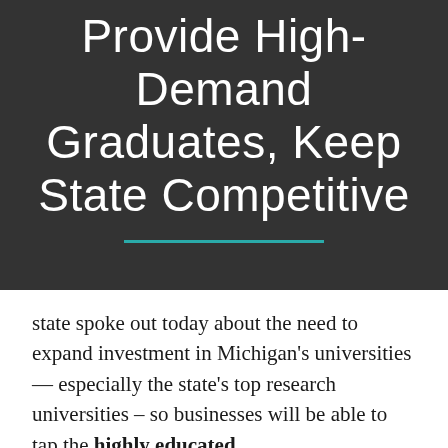Provide High-Demand Graduates, Keep State Competitive
state spoke out today about the need to expand investment in Michigan's universities — especially the state's top research universities – so businesses will be able to tap the highly educated